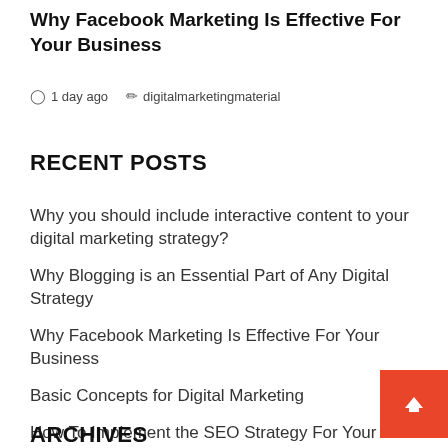Why Facebook Marketing Is Effective For Your Business
1 day ago   digitalmarketingmaterial
RECENT POSTS
Why you should include interactive content to your digital marketing strategy?
Why Blogging is an Essential Part of Any Digital Strategy
Why Facebook Marketing Is Effective For Your Business
Basic Concepts for Digital Marketing
How To Implement the SEO Strategy For Your Business Growth?
ARCHIVES